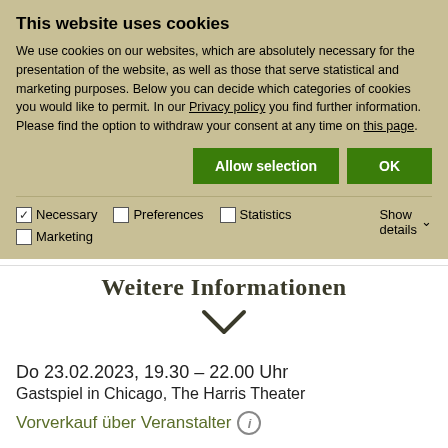This website uses cookies
We use cookies on our websites, which are absolutely necessary for the presentation of the website, as well as those that serve statistical and marketing purposes. Below you can decide which categories of cookies you would like to permit. In our Privacy policy you find further information. Please find the option to withdraw your consent at any time on this page.
Allow selection  OK
✓ Necessary  □ Preferences  □ Statistics  □ Marketing  Show details ∨
Weitere Informationen
Do 23.02.2023, 19.30 – 22.00 Uhr
Gastspiel in Chicago, The Harris Theater
Vorverkauf über Veranstalter ⓘ
Ballett von John Neumeier nach Tennessee Williams